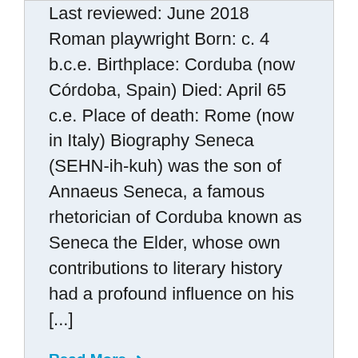Last reviewed: June 2018 Roman playwright Born: c. 4 b.c.e. Birthplace: Corduba (now Córdoba, Spain) Died: April 65 c.e. Place of death: Rome (now in Italy) Biography Seneca (SEHN-ih-kuh) was the son of Annaeus Seneca, a famous rhetorician of Corduba known as Seneca the Elder, whose own contributions to literary history had a profound influence on his [...]
Read More →
Authors: Ousmane Sembène
Last updated on December 10, 2021